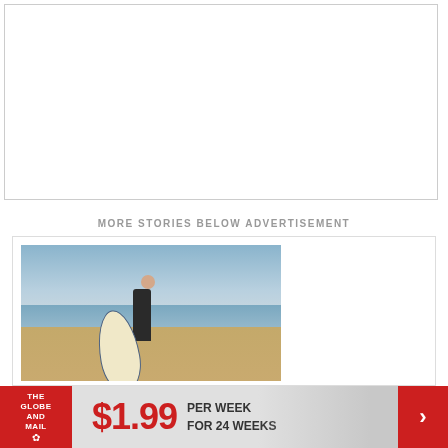[Figure (other): White blank rectangular box with light gray border, representing an empty advertisement or image area]
MORE STORIES BELOW ADVERTISEMENT
[Figure (photo): Man in a black wetsuit holding a cream/white surfboard with blue trim, standing on a sandy beach with ocean waves and overcast sky in the background]
[Figure (infographic): The Globe and Mail subscription advertisement banner: $1.99 per week for 24 weeks, with red Globe and Mail logo on left and red arrow button on right]